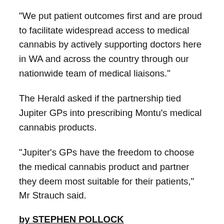“We put patient outcomes first and are proud to facilitate widespread access to medical cannabis by actively supporting doctors here in WA and across the country through our nationwide team of medical liaisons.”
The Herald asked if the partnership tied Jupiter GPs into prescribing Montu’s medical cannabis products.
“Jupiter’s GPs have the freedom to choose the medical cannabis product and partner they deem most suitable for their patients,” Mr Strauch said.
by STEPHEN POLLOCK
Share this: